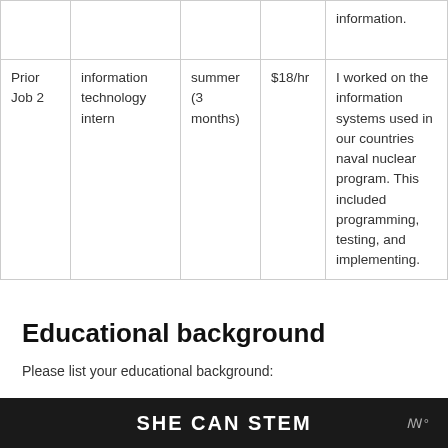|  |  |  |  |  |
| --- | --- | --- | --- | --- |
|  |  |  |  | information. |
| Prior Job 2 | information technology intern | summer (3 months) | $18/hr | I worked on the information systems used in our countries naval nuclear program. This included programming, testing, and implementing. |
Educational background
Please list your educational background:
SHE CAN STEM